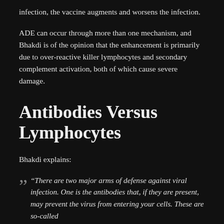infection, the vaccine augments and worsens the infection.
ADE can occur through more than one mechanism, and Bhakdi is of the opinion that the enhancement is primarily due to over-reactive killer lymphocytes and secondary complement activation, both of which cause severe damage.
Antibodies Versus Lymphocytes
Bhakdi explains:
“There are two major arms of defense against viral infection. One is the antibodies that, if they are present, may prevent the virus from entering your cells. These are so-called